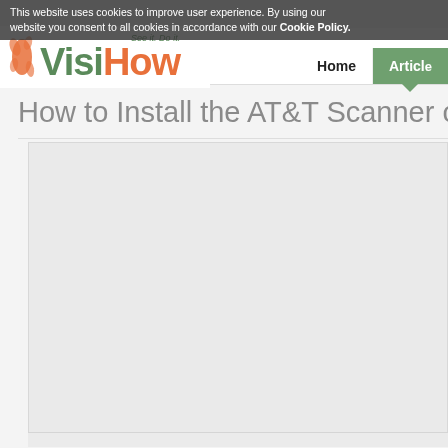This website uses cookies to improve user experience. By using our website you consent to all cookies in accordance with our Cookie Policy.
[Figure (logo): VisiHow logo with tagline 'See it. Do it.' — 'Visi' in green, 'How' in orange, with a stylized orange splatter icon on the left]
Home | Articles
How to Install the AT&T Scanner o